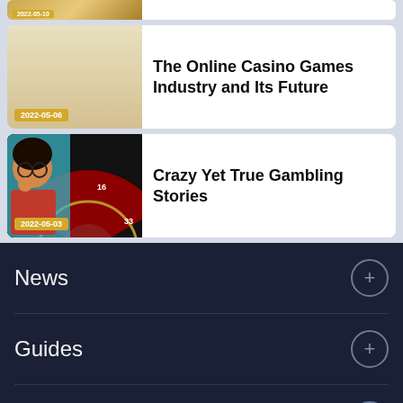[Figure (screenshot): Partial article card cropped at top showing date badge 2022-05-10]
The Online Casino Games Industry and Its Future
2022-05-06
[Figure (photo): Roulette wheel with person reacting, date badge 2022-05-03]
Crazy Yet True Gambling Stories
2022-05-03
News
Guides
Reviews